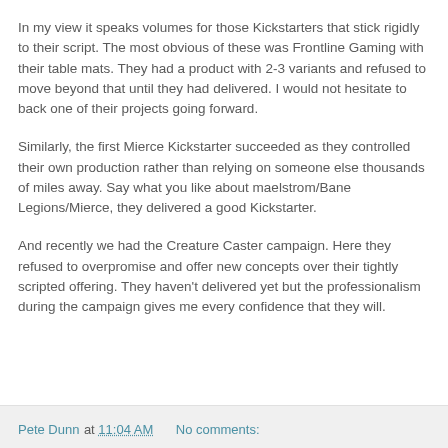In my view it speaks volumes for those Kickstarters that stick rigidly to their script. The most obvious of these was Frontline Gaming with their table mats. They had a product with 2-3 variants and refused to move beyond that until they had delivered. I would not hesitate to back one of their projects going forward.
Similarly, the first Mierce Kickstarter succeeded as they controlled their own production rather than relying on someone else thousands of miles away. Say what you like about maelstrom/Bane Legions/Mierce, they delivered a good Kickstarter.
And recently we had the Creature Caster campaign. Here they refused to overpromise and offer new concepts over their tightly scripted offering. They haven't delivered yet but the professionalism during the campaign gives me every confidence that they will.
Pete Dunn at 11:04 AM   No comments: